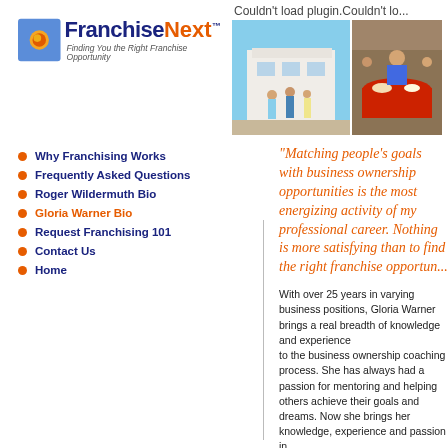[Figure (logo): FranchiseNext logo with sun icon and tagline 'Finding You the Right Franchise Opportunity']
[Figure (photo): Header photos: people standing outside building, and a food/catering scene. Plugin error message shown: Couldn't load plugin.Couldn't lo...]
Why Franchising Works
Frequently Asked Questions
Roger Wildermuth Bio
Gloria Warner Bio
Request Franchising 101
Contact Us
Home
“Matching people’s goals with business ownership opportunities is the most energizing activity of my professional career. Nothing is more satisfying than to find the right franchise opportunity”
With over 25 years in varying business positions, Gloria Warner brings a real breadth of knowledge and experience to the business ownership coaching process. She has always had a passion for mentoring and helping others achieve their goals and dreams. Now she brings her knowledge, experience and passion in...